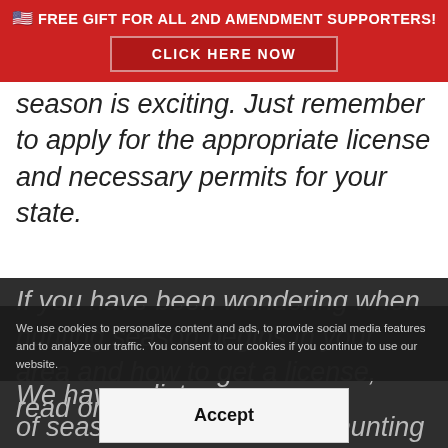🇺🇸 FREE GIFT FOR ALL 2ND AMENDMENT SUPPORTERS! CLICK HERE NOW
season is exciting. Just remember to apply for the appropriate license and necessary permits for your state.
If you have been wondering when hunting season begins in your area and how to get a license, read on.
We have a list of season dates and other hunting laws for all 50 states,
We use cookies to personalize content and ads, to provide social media features and to analyze our traffic. You consent to our cookies if you continue to use our website.
Accept